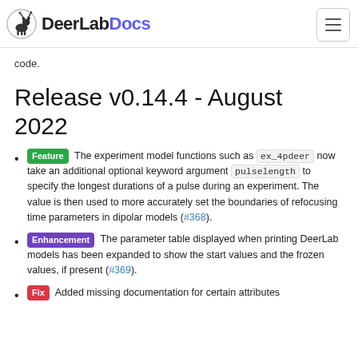DeerLabDocs
code.
Release v0.14.4 - August 2022
Feature The experiment model functions such as ex_4pdeer now take an additional optional keyword argument pulselength to specify the longest durations of a pulse during an experiment. The value is then used to more accurately set the boundaries of refocusing time parameters in dipolar models (#368).
Enhancement The parameter table displayed when printing DeerLab models has been expanded to show the start values and the frozen values, if present (#369).
Fix Added missing documentation for certain attributes